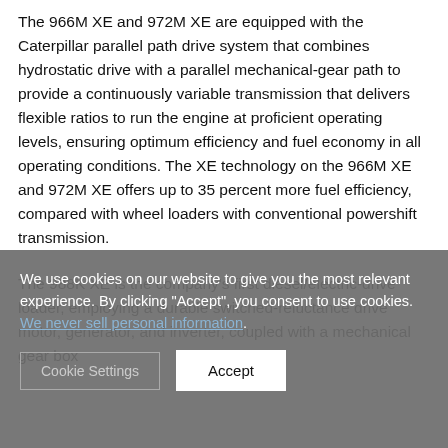The 966M XE and 972M XE are equipped with the Caterpillar parallel path drive system that combines hydrostatic drive with a parallel mechanical-gear path to provide a continuously variable transmission that delivers flexible ratios to run the engine at proficient operating levels, ensuring optimum efficiency and fuel economy in all operating conditions. The XE technology on the 966M XE and 972M XE offers up to 35 percent more fuel efficiency, compared with wheel loaders with conventional powershift transmission.
The 988K XE is the company's first diesel/electric-drive loader, employing a durable switched-reluctance drive motor, generator, and inverter, coupled with a mechanical gear box
We use cookies on our website to give you the most relevant experience. By clicking "Accept", you consent to use cookies. We never sell personal information.